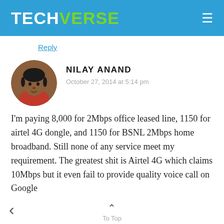TECHVERSE
Reply
[Figure (photo): Circular avatar photo of Nilay Anand, a man with dark hair wearing a red shirt]
NILAY ANAND
October 27, 2014 at 5:14 pm
I'm paying 8,000 for 2Mbps office leased line, 1150 for airtel 4G dongle, and 1150 for BSNL 2Mbps home broadband. Still none of any service meet my requirement. The greatest shit is Airtel 4G which claims 10Mbps but it even fail to provide quality voice call on Google
To Top